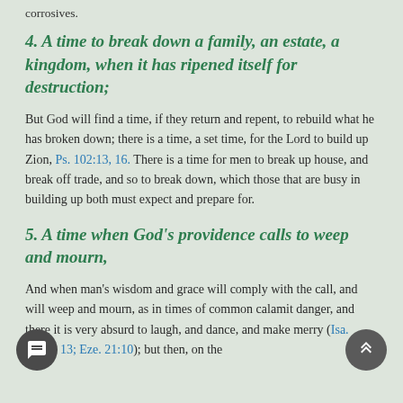corrosives.
4. A time to break down a family, an estate, a kingdom, when it has ripened itself for destruction;
But God will find a time, if they return and repent, to rebuild what he has broken down; there is a time, a set time, for the Lord to build up Zion, Ps. 102:13, 16. There is a time for men to break up house, and break off trade, and so to break down, which those that are busy in building up both must expect and prepare for.
5. A time when God's providence calls to weep and mourn,
And when man's wisdom and grace will comply with the call, and will weep and mourn, as in times of common calamity danger, and there it is very absurd to laugh, and dance, and make merry (Isa. 22:12, 13; Eze. 21:10); but then, on the